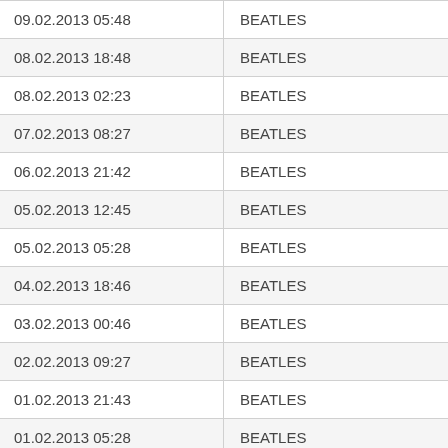| Date/Time | Value |
| --- | --- |
| 09.02.2013 05:48 | BEATLES |
| 08.02.2013 18:48 | BEATLES |
| 08.02.2013 02:23 | BEATLES |
| 07.02.2013 08:27 | BEATLES |
| 06.02.2013 21:42 | BEATLES |
| 05.02.2013 12:45 | BEATLES |
| 05.02.2013 05:28 | BEATLES |
| 04.02.2013 18:46 | BEATLES |
| 03.02.2013 00:46 | BEATLES |
| 02.02.2013 09:27 | BEATLES |
| 01.02.2013 21:43 | BEATLES |
| 01.02.2013 05:28 | BEATLES |
| 31.01.2013 06:27 | BEATLES |